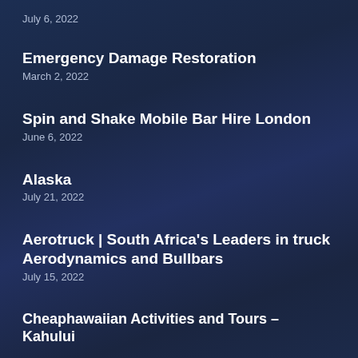July 6, 2022
Emergency Damage Restoration
March 2, 2022
Spin and Shake Mobile Bar Hire London
June 6, 2022
Alaska
July 21, 2022
Aerotruck | South Africa's Leaders in truck Aerodynamics and Bullbars
July 15, 2022
Cheaphawaiian Activities and Tours – Kahului